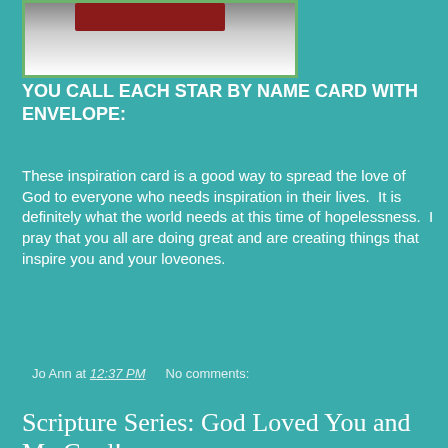[Figure (photo): Partial image of a card with red and dark elements, framed with green border]
YOU CALL EACH STAR BY NAME CARD WITH ENVELOPE:
These inspiration card is a good way to spread the love of God to everyone who needs inspiration in their lives.  It is definitely what the world needs at this time of hopelessness.  I pray that you all are doing great and are creating things that inspire you and your loveones.
Jo Ann at 12:37 PM    No comments:
Scripture Series: God Loved You and Me Card!